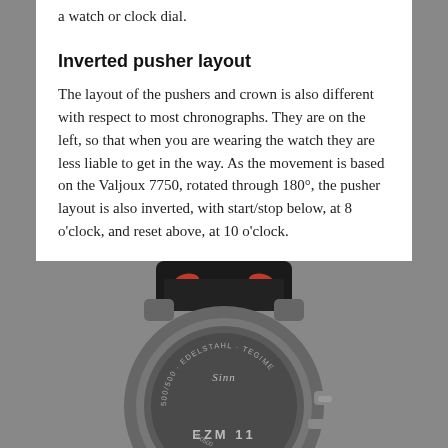a watch or clock dial.
Inverted pusher layout
The layout of the pushers and crown is also different with respect to most chronographs. They are on the left, so that when you are wearing the watch they are less liable to get in the way. As the movement is based on the Valjoux 7750, rotated through 180°, the pusher layout is also inverted, with start/stop below, at 8 o'clock, and reset above, at 10 o'clock.
[Figure (photo): Back view of a Sinn EZM 11 watch showing the caseback engraved with 'Sinn', '500/500', 'EDELSTAHL', 'TEGIME', and 'EZM11', with a black leather strap with red stitching, and a crown visible on the right side.]